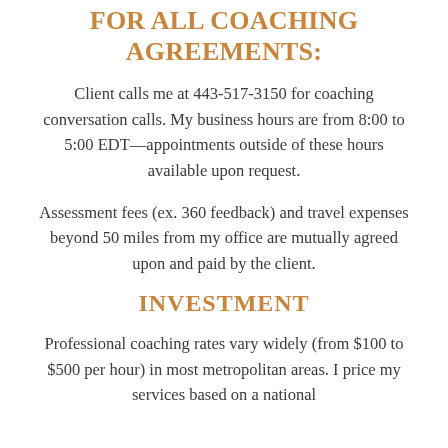FOR ALL COACHING AGREEMENTS:
Client calls me at 443-517-3150 for coaching conversation calls. My business hours are from 8:00 to 5:00 EDT—appointments outside of these hours available upon request.
Assessment fees (ex. 360 feedback) and travel expenses beyond 50 miles from my office are mutually agreed upon and paid by the client.
INVESTMENT
Professional coaching rates vary widely (from $100 to $500 per hour) in most metropolitan areas. I price my services based on a national